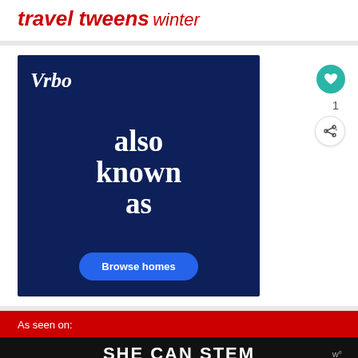travel tweens winter
[Figure (advertisement): Vrbo advertisement on dark navy background with text 'also known as' and a 'Browse homes' button]
1
As seen on:
SHE CAN STEM